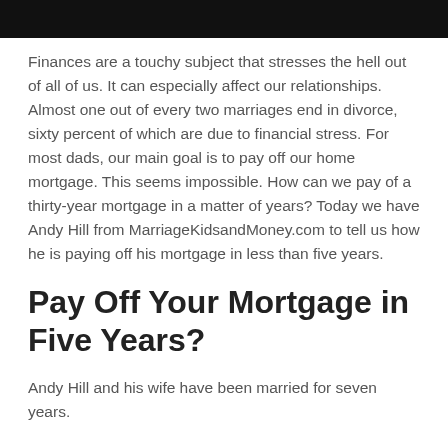[Figure (photo): Black bar at the top of the page, likely a header image or banner]
Finances are a touchy subject that stresses the hell out of all of us. It can especially affect our relationships. Almost one out of every two marriages end in divorce, sixty percent of which are due to financial stress. For most dads, our main goal is to pay off our home mortgage. This seems impossible. How can we pay of a thirty-year mortgage in a matter of years? Today we have Andy Hill from MarriageKidsandMoney.com to tell us how he is paying off his mortgage in less than five years.
Pay Off Your Mortgage in Five Years?
Andy Hill and his wife have been married for seven years.